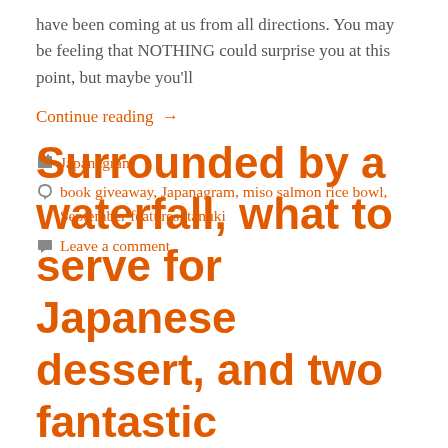have been coming at us from all directions. You may be feeling that NOTHING could surprise you at this point, but maybe you'll
Continue reading →
Japanagram
book giveaway, Japanagram, miso salmon rice bowl, September features, tanuki
Leave a comment
Surrounded by a waterfall, what to serve for Japanese dessert, and two fantastic